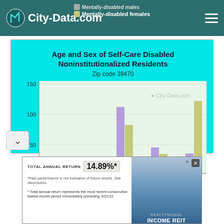City-Data.com
[Figure (grouped-bar-chart): Age and Sex of Self-Care Disabled Noninstitutionalized Residents]
[Figure (infographic): Advertisement banner: TOTAL ANNUAL RETURN 14.89%* for INCOME REIT by Realtymogul. Disclaimer: Past performance is not indicative of future results. See disclosures. Total annual return represents the most recent consecutive twelve-month period immediately preceding 3/31/22]